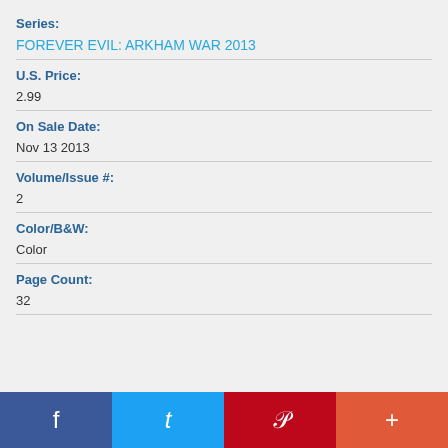Series:
FOREVER EVIL: ARKHAM WAR 2013
U.S. Price:
2.99
On Sale Date:
Nov 13 2013
Volume/Issue #:
2
Color/B&W:
Color
Page Count:
32
f  t  p  +